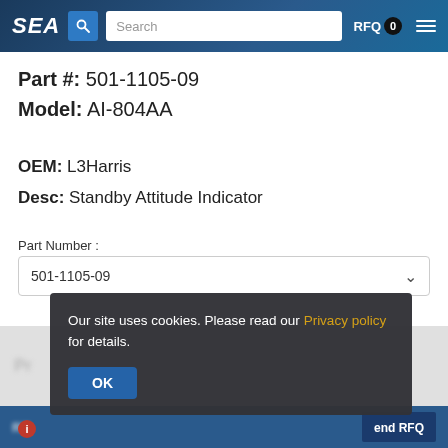SEA | Search | RFQ 0
Part #: 501-1105-09
Model: AI-804AA
OEM: L3Harris
Desc: Standby Attitude Indicator
Part Number :
501-1105-09
Our site uses cookies. Please read our Privacy policy for details. OK